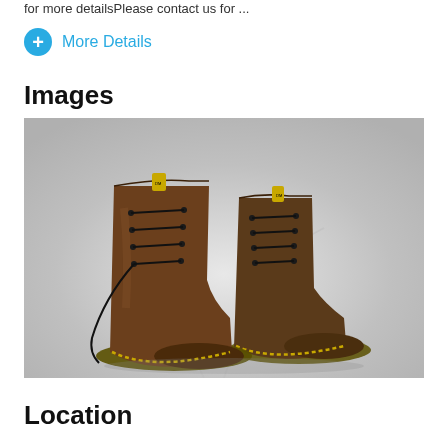for more detailsPlease contact us for ...
More Details
Images
[Figure (photo): A pair of brown leather Dr. Martens lace-up boots with yellow stitching on the soles, photographed against a white/light grey fabric background.]
Location